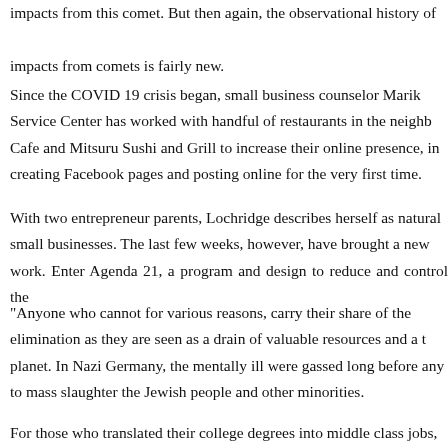impacts from this comet. But then again, the observational history of impacts from comets is fairly new.
Since the COVID 19 crisis began, small business counselor Marik Service Center has worked with handful of restaurants in the neighb Cafe and Mitsuru Sushi and Grill to increase their online presence, in creating Facebook pages and posting online for the very first time.
With two entrepreneur parents, Lochridge describes herself as natural small businesses. The last few weeks, however, have brought a new work. Enter Agenda 21, a program and design to reduce and control the
"Anyone who cannot for various reasons, carry their share of the elimination as they are seen as a drain of valuable resources and a t planet. In Nazi Germany, the mentally ill were gassed long before any to mass slaughter the Jewish people and other minorities.
For those who translated their college degrees into middle class jobs,